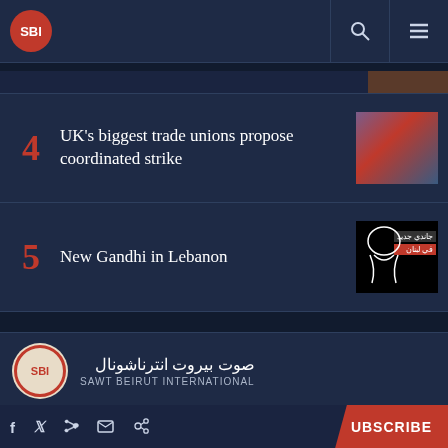SBI - Sawt Beirut International
4 UK's biggest trade unions propose coordinated strike
5 New Gandhi in Lebanon
صوت بيروت انترناشونال SAWT BEIRUT INTERNATIONAL
SUBSCRIBE